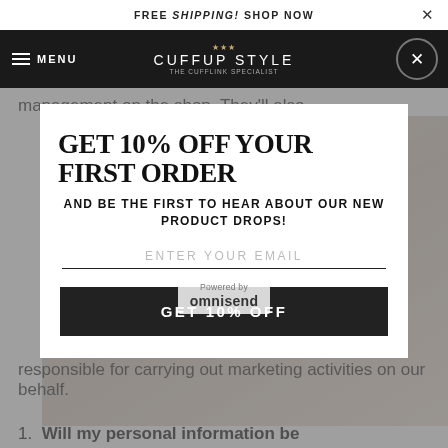FREE SHIPPING! SHOP NOW
MENU  CUFFUP STYLE
management on the shop. They'll also
GET 10% OFF YOUR FIRST ORDER
AND BE THE FIRST TO HEAR ABOUT OUR NEW PRODUCT DROPS!
ENTER YOUR EMAIL
GET 10% OFF
Powered by omnisend
responsible for carrying out marketing activities on our behalf.
1. Will my personal information be